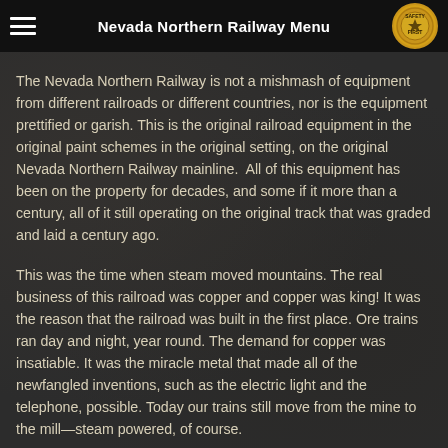Nevada Northern Railway Menu
The Nevada Northern Railway is not a mishmash of equipment from different railroads or different countries, nor is the equipment prettified or garish. This is the original railroad equipment in the original paint schemes in the original setting, on the original Nevada Northern Railway mainline.  All of this equipment has been on the property for decades, and some if it more than a century, all of it still operating on the original track that was graded and laid a century ago.
This was the time when steam moved mountains. The real business of this railroad was copper and copper was king! It was the reason that the railroad was built in the first place. Ore trains ran day and night, year round. The demand for copper was insatiable. It was the miracle metal that made all of the newfangled inventions, such as the electric light and the telephone, possible. Today our trains still move from the mine to the mill—steam powered, of course.